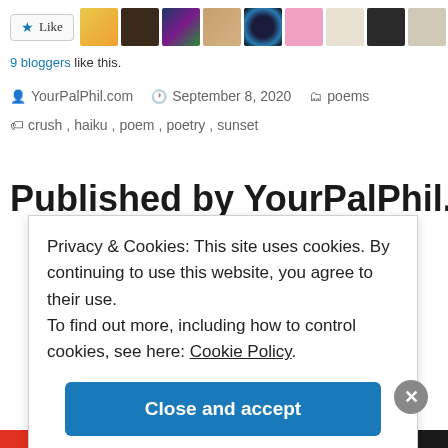[Figure (screenshot): Like button and avatar strip showing 9 blogger profile images]
9 bloggers like this.
YourPalPhil.com   September 8, 2020   poems
crush, haiku, poem, poetry, sunset
Published by YourPalPhil.com
Privacy & Cookies: This site uses cookies. By continuing to use this website, you agree to their use. To find out more, including how to control cookies, see here: Cookie Policy
Close and accept